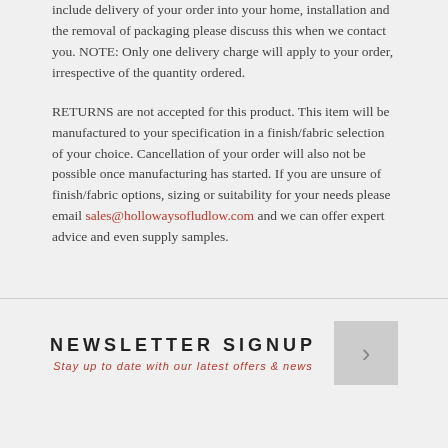include delivery of your order into your home, installation and the removal of packaging please discuss this when we contact you. NOTE: Only one delivery charge will apply to your order, irrespective of the quantity ordered.
RETURNS are not accepted for this product. This item will be manufactured to your specification in a finish/fabric selection of your choice. Cancellation of your order will also not be possible once manufacturing has started. If you are unsure of finish/fabric options, sizing or suitability for your needs please email sales@hollowaysofludlow.com and we can offer expert advice and even supply samples.
NEWSLETTER SIGNUP
Stay up to date with our latest offers & news